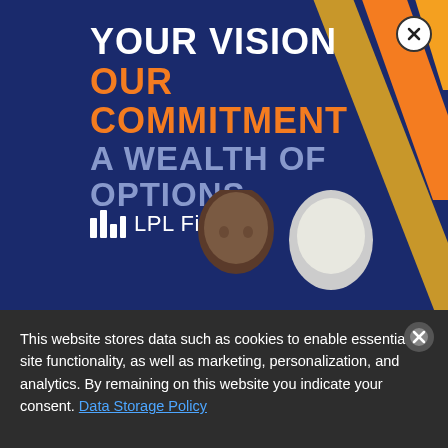[Figure (illustration): LPL Financial advertisement banner with dark navy blue background, diagonal orange and gold stripes on the right side, two people visible at bottom (man and woman), and LPL Financial logo.]
YOUR VISION OUR COMMITMENT A WEALTH OF OPTIONS
[Figure (logo): LPL Financial logo with stylized icon and text 'LPL Financial' in white]
This website stores data such as cookies to enable essential site functionality, as well as marketing, personalization, and analytics. By remaining on this website you indicate your consent. Data Storage Policy